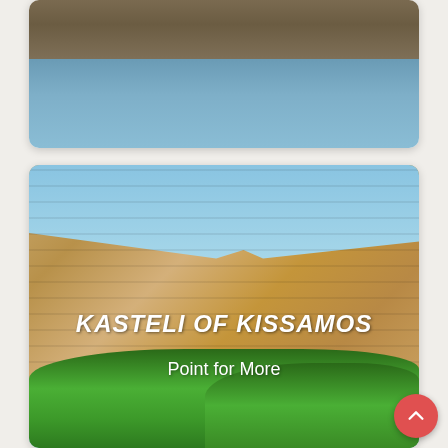[Figure (photo): Partial view of a rocky coastal cliff with calm blue sea water in the foreground, viewed from below]
[Figure (photo): Stone fortress/castle wall of Kasteli of Kissamos with sandy-colored stonework, blue sky visible above battlements, green foliage at the bottom. White bold italic text reads 'KASTELI OF KISSAMOS' and white text 'Point for More' overlaid on the image.]